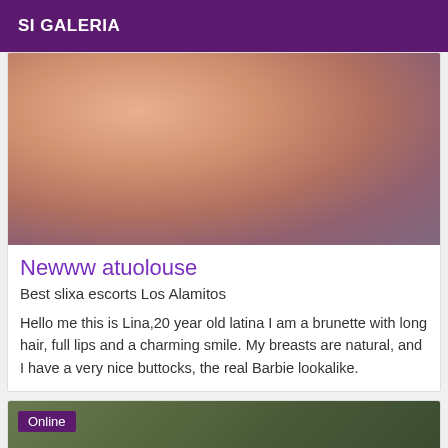SI GALERIA
[Figure (photo): Close-up photo used as listing image]
Newww atuolouse
Best slixa escorts Los Alamitos
Hello me this is Lina,20 year old latina I am a brunette with long hair, full lips and a charming smile. My breasts are natural, and I have a very nice buttocks, the real Barbie lookalike.
[Figure (photo): Second listing photo with Online badge]